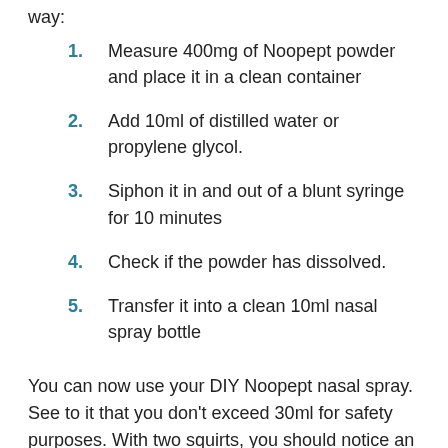way:
Measure 400mg of Noopept powder and place it in a clean container
Add 10ml of distilled water or propylene glycol.
Siphon it in and out of a blunt syringe for 10 minutes
Check if the powder has dissolved.
Transfer it into a clean 10ml nasal spray bottle
You can now use your DIY Noopept nasal spray. See to it that you don’t exceed 30ml for safety purposes. With two squirts, you should notice an